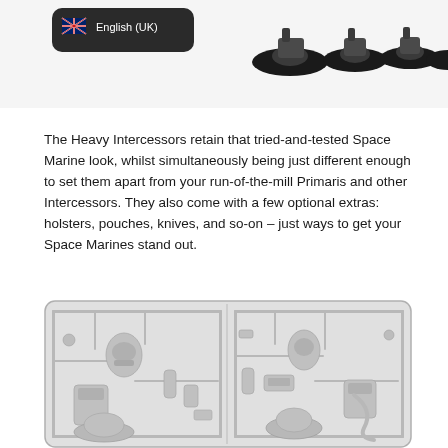[Figure (photo): Photo showing Space Marine miniature figures on black oval bases, with an English (UK) language selector button overlay in the top-left corner]
The Heavy Intercessors retain that tried-and-tested Space Marine look, whilst simultaneously being just different enough to set them apart from your run-of-the-mill Primaris and other Intercessors. They also come with a few optional extras: holsters, pouches, knives, and so-on – just ways to get your Space Marines stand out.
[Figure (photo): Grayscale photo of a plastic model sprue containing Space Marine Heavy Intercessor miniature parts, showing two connected frames with numbered parts including torsos, arms, weapons, and accessories]